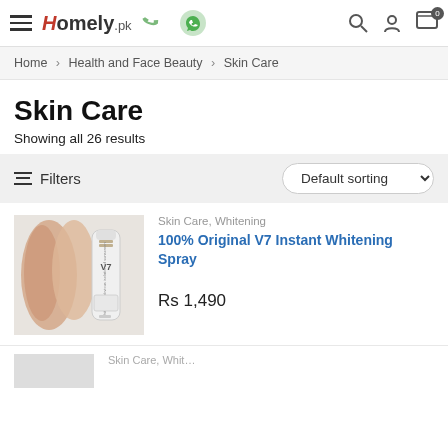Homely.pk — navigation header with hamburger menu, logo, phone icon, WhatsApp icon, search, account, and cart (0)
Home > Health and Face Beauty > Skin Care
Skin Care
Showing all 26 results
Filters | Default sorting
[Figure (photo): Product photo of V7 whitening spray bottle next to a person's arms showing whitened skin, on a grey background]
Skin Care, Whitening
100% Original V7 Instant Whitening Spray
Rs 1,490